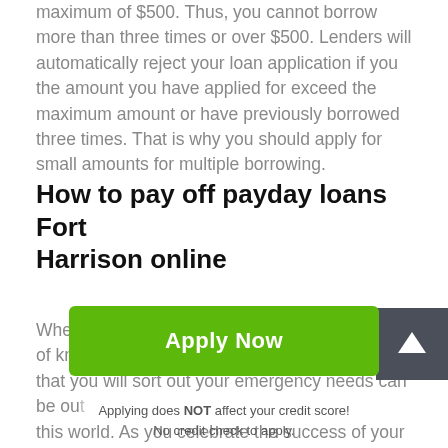maximum of $500. Thus, you cannot borrow more than three times or over $500. Lenders will automatically reject your loan application if you the amount you have applied for exceed the maximum amount or have previously borrowed three times. That is why you should apply for small amounts for multiple borrowing.
How to pay off payday loans Fort Harrison online
When you qualify for a payday loan, the feeling of knowing that you will sort out your emergency needs can be out this world. As you celebrate the success of your application, you need to remember that you have you will
[Figure (other): Scroll-to-top button with upward arrow icon on dark grey background]
Apply Now
Applying does NOT affect your credit score!
No credit check to apply.